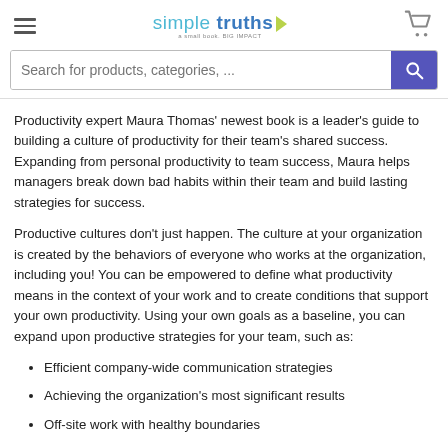simple truths — a small book. BIG IMPACT
Search for products, categories, ...
Productivity expert Maura Thomas' newest book is a leader's guide to building a culture of productivity for their team's shared success. Expanding from personal productivity to team success, Maura helps managers break down bad habits within their team and build lasting strategies for success.
Productive cultures don't just happen. The culture at your organization is created by the behaviors of everyone who works at the organization, including you! You can be empowered to define what productivity means in the context of your work and to create conditions that support your own productivity. Using your own goals as a baseline, you can expand upon productive strategies for your team, such as:
Efficient company-wide communication strategies
Achieving the organization's most significant results
Off-site work with healthy boundaries